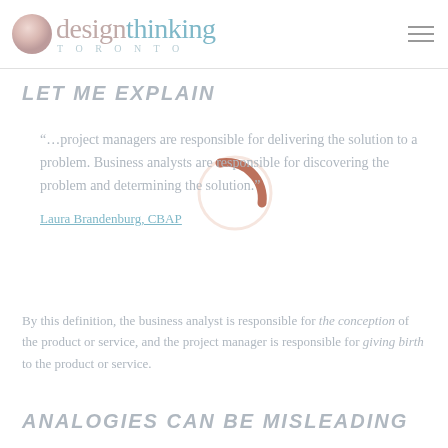design thinking TORONTO
LET ME EXPLAIN
“…project managers are responsible for delivering the solution to a problem. Business analysts are responsible for discovering the problem and determining the solution.”
Laura Brandenburg, CBAP
By this definition, the business analyst is responsible for the conception of the product or service, and the project manager is responsible for giving birth to the product or service.
ANALOGIES CAN BE MISLEADING